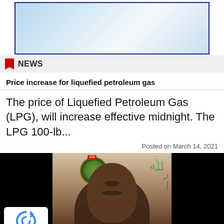[Figure (photo): Banner advertisement image with blue gradient background and dark navy border]
NEWS
Price increase for liquefied petroleum gas
The price of Liquefied Petroleum Gas (LPG), will increase effective midnight. The LPG 100-lb...
Posted on March 14, 2021
[Figure (photo): News article photo showing a person (bald man) with a government/military badge visible in the background on the left side, and Arabic text on the right side. Black bars on left and right of photo.]